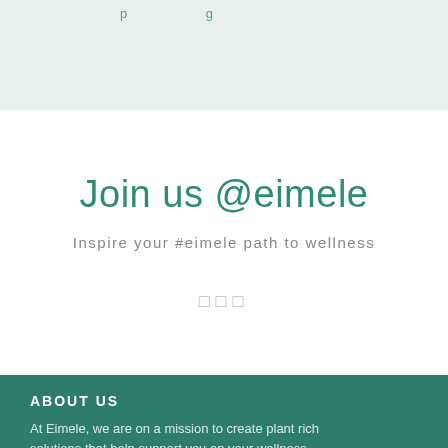p...g...
Join us @eimele
Inspire your #eimele path to wellness
□□□
ABOUT US
At Eimele, we are on a mission to create plant rich solutions that help support you on your wellness